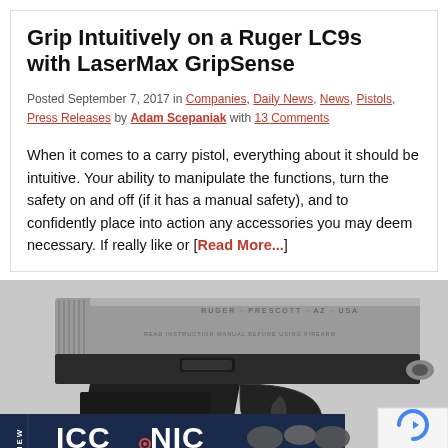Grip Intuitively on a Ruger LC9s with LaserMax GripSense
Posted September 7, 2017 in Companies, Daily News, News, Pistols, Press Releases by Adam Scepaniak with 13 Comments
When it comes to a carry pistol, everything about it should be intuitive. Your ability to manipulate the functions, turn the safety on and off (if it has a manual safety), and to confidently place into action any accessories you may deem necessary. If really like or [Read More...]
[Figure (photo): Close-up photo of a Ruger LC9s pistol, black, showing the slide with RUGER PRESCOTT AZ USA engraving, the grip with RUGER text, and trigger guard. An ICONIC BY RISE advertisement banner overlays the bottom.]